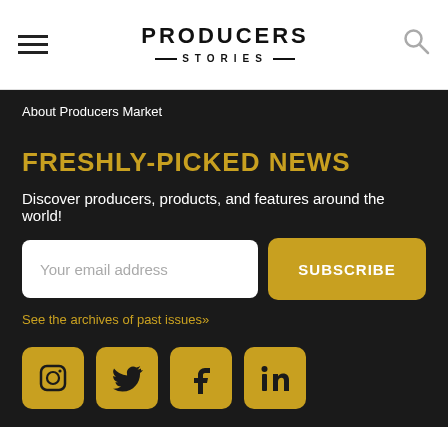PRODUCERS STORIES
About Producers Market
FRESHLY-PICKED NEWS
Discover producers, products, and features around the world!
Your email address
SUBSCRIBE
See the archives of past issues»
[Figure (infographic): Social media icons: Instagram, Twitter, Facebook, LinkedIn in gold rounded square buttons]